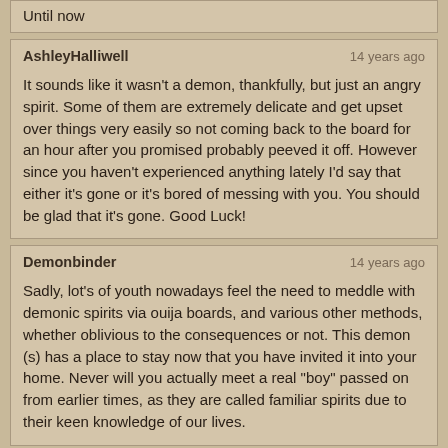Until now
AshleyHalliwell — 14 years ago
It sounds like it wasn't a demon, thankfully, but just an angry spirit. Some of them are extremely delicate and get upset over things very easily so not coming back to the board for an hour after you promised probably peeved it off. However since you haven't experienced anything lately I'd say that either it's gone or it's bored of messing with you. You should be glad that it's gone. Good Luck!
Demonbinder — 14 years ago
Sadly, lot's of youth nowadays feel the need to meddle with demonic spirits via ouija boards, and various other methods, whether oblivious to the consequences or not. This demon (s) has a place to stay now that you have invited it into your home. Never will you actually meet a real "boy" passed on from earlier times, as they are called familiar spirits due to their keen knowledge of our lives.
Hoochler — 14 years ago